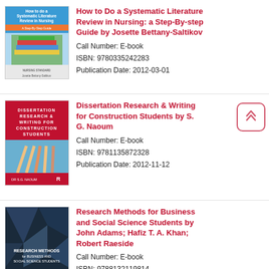[Figure (illustration): Book cover: How to do a Systematic Literature Review in Nursing, with stacked books image]
How to Do a Systematic Literature Review in Nursing: a Step-By-step Guide by Josette Bettany-Saltikov
Call Number: E-book
ISBN: 9780335242283
Publication Date: 2012-03-01
[Figure (illustration): Book cover: Dissertation Research & Writing for Construction Students, red cover with hands holding pencils]
Dissertation Research & Writing for Construction Students by S. G. Naoum
Call Number: E-book
ISBN: 9781135872328
Publication Date: 2012-11-12
[Figure (illustration): Book cover: Research Methods for Business and Social Science Students, dark geometric background]
Research Methods for Business and Social Science Students by John Adams; Hafiz T. A. Khan; Robert Raeside
Call Number: E-book
ISBN: 9788132119814